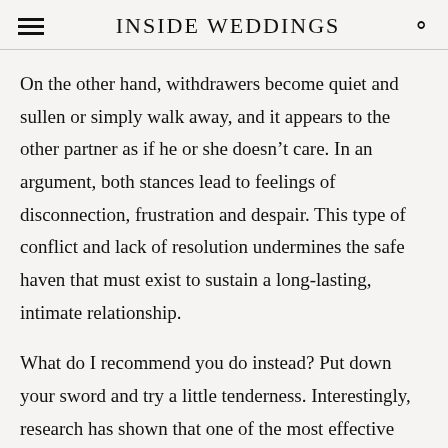INSIDE WEDDINGS
On the other hand, withdrawers become quiet and sullen or simply walk away, and it appears to the other partner as if he or she doesn't care. In an argument, both stances lead to feelings of disconnection, frustration and despair. This type of conflict and lack of resolution undermines the safe haven that must exist to sustain a long-lasting, intimate relationship.
What do I recommend you do instead? Put down your sword and try a little tenderness. Interestingly, research has shown that one of the most effective ways to change this pattern is to go against initial